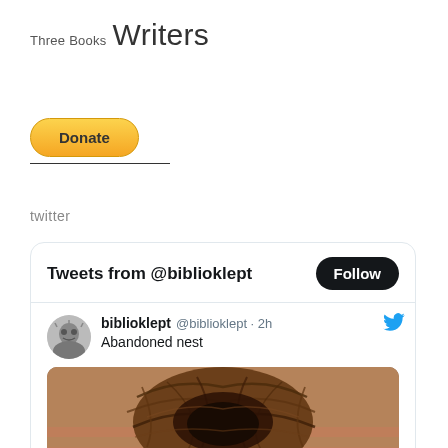Three Books Writers
[Figure (other): Donate button (PayPal-style yellow rounded button with the text 'Donate' in bold)]
twitter
[Figure (screenshot): Twitter widget showing 'Tweets from @biblioklept' with a Follow button, and a tweet from biblioklept @biblioklept · 2h reading 'Abandoned nest' with a photo of a bird's nest against a brick wall.]